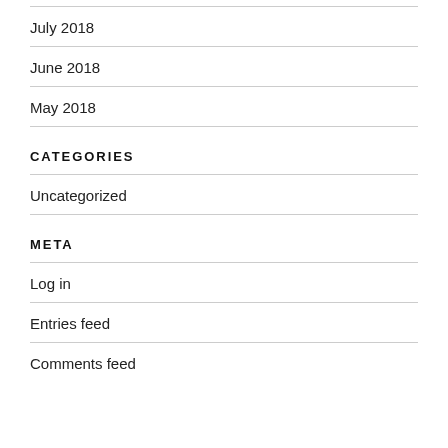July 2018
June 2018
May 2018
CATEGORIES
Uncategorized
META
Log in
Entries feed
Comments feed